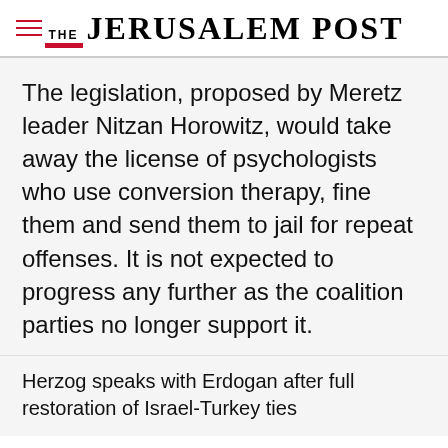THE JERUSALEM POST
The legislation, proposed by Meretz leader Nitzan Horowitz, would take away the license of psychologists who use conversion therapy, fine them and send them to jail for repeat offenses. It is not expected to progress any further as the coalition parties no longer support it.
Herzog speaks with Erdogan after full restoration of Israel-Turkey ties
Advertisement